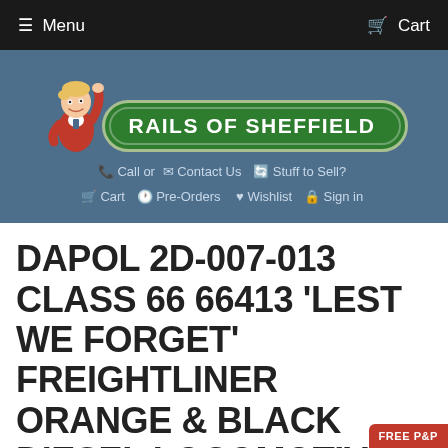Menu  Cart
[Figure (logo): Rails of Sheffield logo with mascot boy in red jacket pointing, on a steel-blue header background. Green oval badge with white text 'RAILS OF SHEFFIELD'. Navigation links: Call or | Contact Us | Stuff to Sell? | Cart | Pre-Orders | Wishlist | Sign in]
DAPOL 2D-007-013 CLASS 66 66413 'LEST WE FORGET' FREIGHTLINER ORANGE & BLACK DIESEL LOCOMOTIVE
2D-007-013 | Dapol | N Gauge Scale